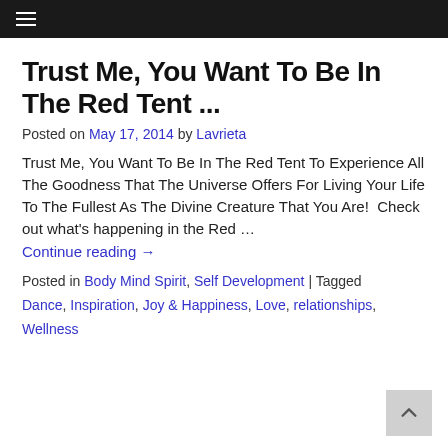≡ (navigation bar)
Trust Me, You Want To Be In The Red Tent ...
Posted on May 17, 2014 by Lavrieta
Trust Me, You Want To Be In The Red Tent To Experience All The Goodness That The Universe Offers For Living Your Life To The Fullest As The Divine Creature That You Are!  Check out what's happening in the Red …
Continue reading →
Posted in Body Mind Spirit, Self Development | Tagged Dance, Inspiration, Joy & Happiness, Love, relationships, Wellness